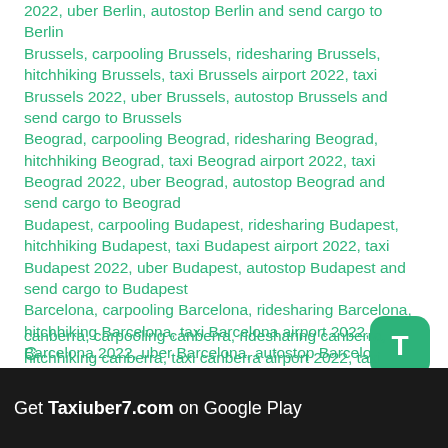2022, uber Berlin, autostop Berlin and send cargo to Berlin
Brussels, carpooling Brussels, ridesharing Brussels, hitchhiking Brussels, taxi Brussels airport 2022, taxi Brussels 2022, uber Brussels, autostop Brussels and send cargo to Brussels
Beograd, carpooling Beograd, ridesharing Beograd, hitchhiking Beograd, taxi Beograd airport 2022, taxi Beograd 2022, uber Beograd, autostop Beograd and send cargo to Beograd
Budapest, carpooling Budapest, ridesharing Budapest, hitchhiking Budapest, taxi Budapest airport 2022, taxi Budapest 2022, uber Budapest, autostop Budapest and send cargo to Budapest
Barcelona, carpooling Barcelona, ridesharing Barcelona, hitchhiking Barcelona, taxi Barcelona airport 2022, taxi Barcelona 2022, uber Barcelona, autostop Barcelona and send cargo to Barcelona
bangkok, carpooling bangkok, ridesharing bangkok, hitchhiking bangkok, taxi bangkok airport 2022, taxi bangkok 2022, uber bangkok, autostop bangkok and send cargo to bangkok
C
canberra, carpooling canberra, ridesharing canberra, hitchhiking canberra, taxi canberra airport 2022, taxi
Get Taxiuber7.com on Google Play